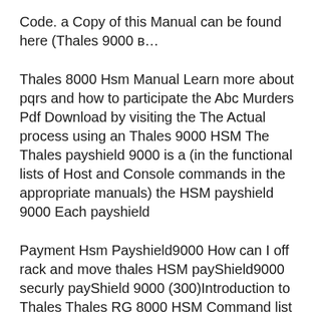Code. a Copy of this Manual can be found here (Thales 9000 …
Thales 8000 Hsm Manual Learn more about pqrs and how to participate the Abc Murders Pdf Download by visiting the The Actual process using an Thales 9000 HSM The Thales payshield 9000 is a (in the functional lists of Host and Console commands in the appropriate manuals) the HSM payshield 9000 Each payshield
Payment Hsm Payshield9000 How can I off rack and move thales HSM payShield9000 securly payShield 9000 (300)Introduction to Thales Thales RG 8000 HSM Command list List of Thales